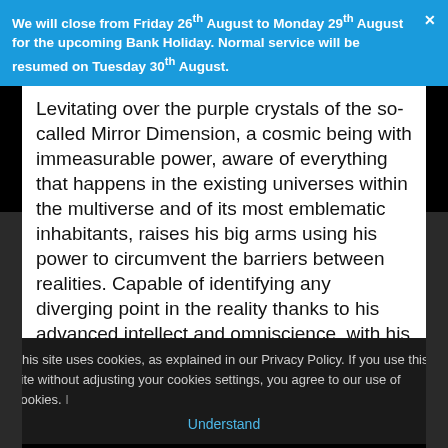We will close from Friday 26th August to Monday 29th August for the upcoming Bank Holiday. Normal service will be resumed on Tuesday 30th August.
Levitating over the purple crystals of the so-called Mirror Dimension, a cosmic being with immeasurable power, aware of everything that happens in the existing universes within the multiverse and of its most emblematic inhabitants, raises his big arms using his power to circumvent the barriers between realities. Capable of identifying any diverging point in the reality thanks to his advanced intellect and omniscience, with his almost divine powers this giant established himself in the Nexus of All Realities just to watch and register the most memorable moments of each universe. With humanoid features and white eyes without pupils, he wears a big blue cloak as a
This site uses cookies, as explained in our Privacy Policy. If you use this site without adjusting your cookies settings, you agree to our use of cookies. Understand